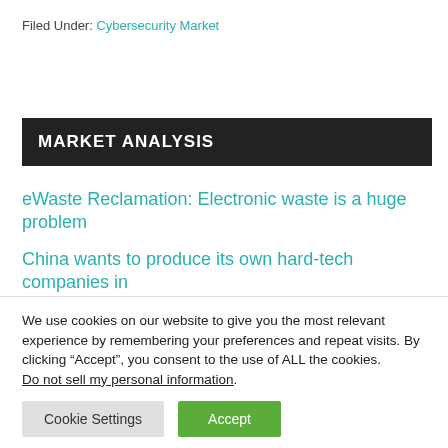Filed Under: Cybersecurity Market
MARKET ANALYSIS
eWaste Reclamation: Electronic waste is a huge problem
China wants to produce its own hard-tech companies in
We use cookies on our website to give you the most relevant experience by remembering your preferences and repeat visits. By clicking “Accept”, you consent to the use of ALL the cookies.
Do not sell my personal information.